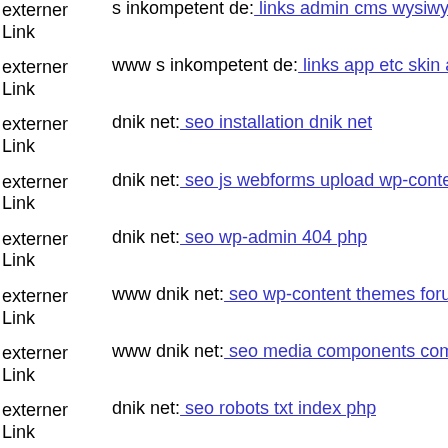externer Link  s inkompetent de: links admin cms wysiwyg directive skin
externer Link  www s inkompetent de: links app etc skin administrator com
externer Link  dnik net: seo installation dnik net
externer Link  dnik net: seo js webforms upload wp-content plugins gravit
externer Link  dnik net: seo wp-admin 404 php
externer Link  www dnik net: seo wp-content themes forum s inkompeten
externer Link  www dnik net: seo media components com b2jcontact mag
externer Link  dnik net: seo robots txt index php
externer Link  s inkompetent de: links app etc skin app etc dnik net
externer Link  www dnik net: seo media'x
externer Link  www s inkompetent de: links readme
externer Link  dnik net: seo media system js media wp-content themes ba